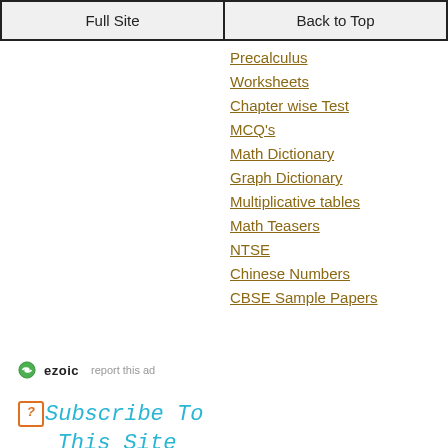Full Site | Back to Top
Precalculus
Worksheets
Chapter wise Test
MCQ's
Math Dictionary
Graph Dictionary
Multiplicative tables
Math Teasers
NTSE
Chinese Numbers
CBSE Sample Papers
ezoic   report this ad
Subscribe To This Site